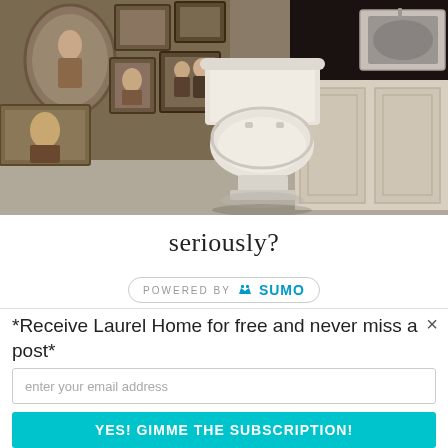[Figure (photo): Bathroom interior with white toilet against a wall covered in framed photos, dark countertop with under-sink cabinets and a stainless steel sink visible on the right]
seriously?
[Figure (logo): Powered by SUMO badge with crown icon]
*Receive Laurel Home for free and never miss a post*
enter your email address
YES! GIMME THE SUBSCRIPTION!